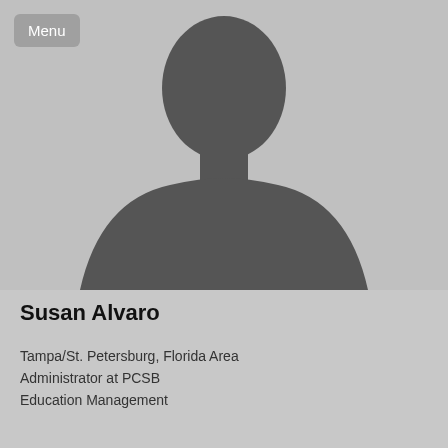[Figure (illustration): Generic grey placeholder silhouette profile photo of a person (head and shoulders) on a light grey background]
Susan Alvaro
Tampa/St. Petersburg, Florida Area
Administrator at PCSB
Education Management